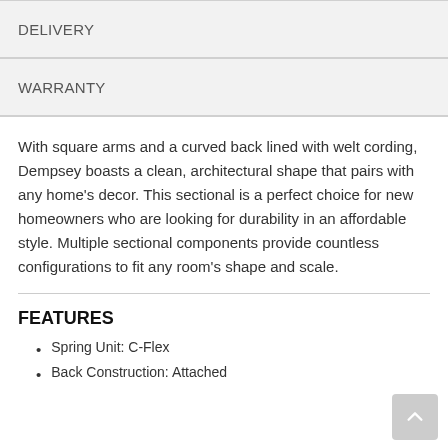DELIVERY
WARRANTY
With square arms and a curved back lined with welt cording, Dempsey boasts a clean, architectural shape that pairs with any home's decor. This sectional is a perfect choice for new homeowners who are looking for durability in an affordable style. Multiple sectional components provide countless configurations to fit any room's shape and scale.
FEATURES
Spring Unit: C-Flex
Back Construction: Attached